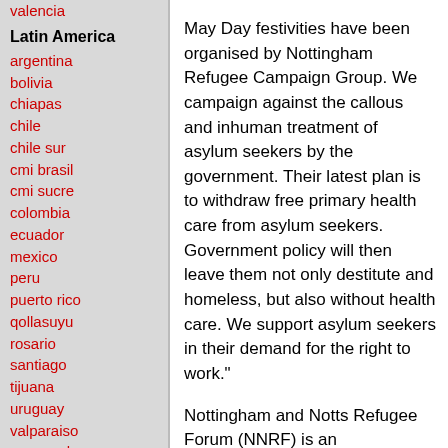valencia
Latin America
argentina
bolivia
chiapas
chile
chile sur
cmi brasil
cmi sucre
colombia
ecuador
mexico
peru
puerto rico
qollasuyu
rosario
santiago
tijuana
uruguay
valparaiso
venezuela
Oceania
May Day festivities have been organised by Nottingham Refugee Campaign Group. We campaign against the callous and inhuman treatment of asylum seekers by the government. Their latest plan is to withdraw free primary health care from asylum seekers. Government policy will then leave them not only destitute and homeless, but also without health care. We support asylum seekers in their demand for the right to work."
Nottingham and Notts Refugee Forum (NNRF) is an independent, voluntary organisation set up to work with and for asylum seekers and refugees in Nottingham and Nottinghamshire.
http://www.nottsrefugeeforum.org.uk
2007 Nottingham Mayday 1 Event